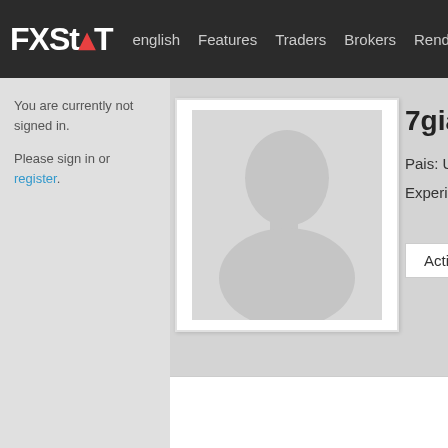FXSTAT  english  Features  Traders  Brokers  Rend
You are currently not signed in.

Please sign in or register.
[Figure (photo): Default user profile avatar silhouette placeholder image — gray background with a white human silhouette (head and shoulders)]
7giann
Pais: United
Experience:
Activity